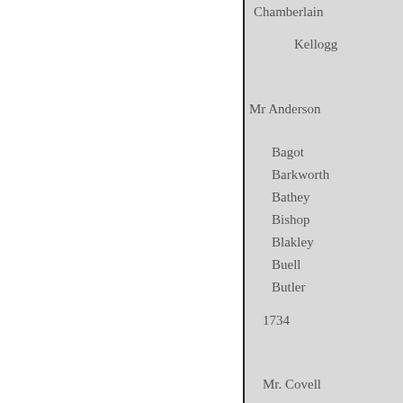Chamberlain
Kellogg
Mr Anderson
Bagot
Barkworth
Bathey
Bishop
Blakley
Buell
Butler
1734
Mr. Covell
Mr. Kingsley
Mr.